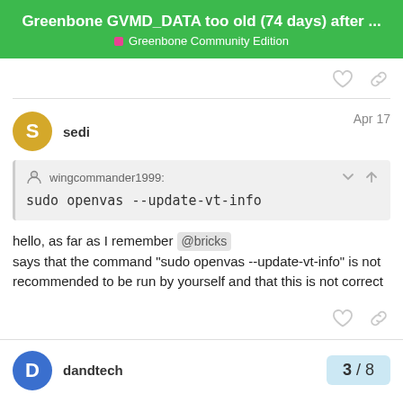Greenbone GVMD_DATA too old (74 days) after ...
Greenbone Community Edition
sedi   Apr 17
wingcommander1999:
sudo openvas --update-vt-info
hello, as far as I remember @bricks says that the command “sudo openvas --update-vt-info” is not recommended to be run by yourself and that this is not correct
dandtech   3 / 8